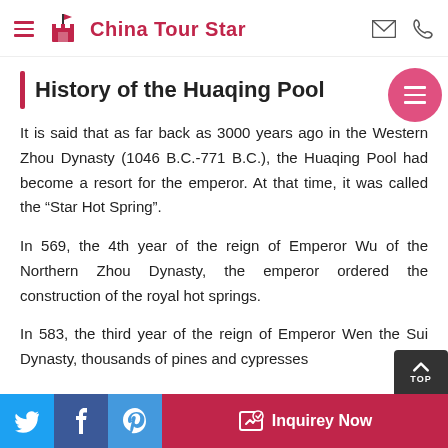China Tour Star
History of the Huaqing Pool
It is said that as far back as 3000 years ago in the Western Zhou Dynasty (1046 B.C.-771 B.C.), the Huaqing Pool had become a resort for the emperor. At that time, it was called the “Star Hot Spring”.
In 569, the 4th year of the reign of Emperor Wu of the Northern Zhou Dynasty, the emperor ordered the construction of the royal hot springs.
In 583, the third year of the reign of Emperor Wen the Sui Dynasty, thousands of pines and cypresses